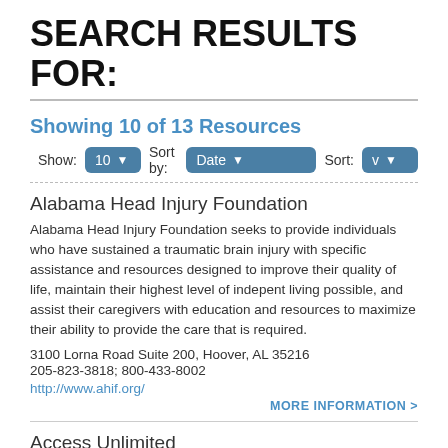SEARCH RESULTS FOR:
Showing 10 of 13 Resources
Show: 10   Sort by: Date   Sort: v
Alabama Head Injury Foundation
Alabama Head Injury Foundation seeks to provide individuals who have sustained a traumatic brain injury with specific assistance and resources designed to improve their quality of life, maintain their highest level of indepent living possible, and assist their caregivers with education and resources to maximize their ability to provide the care that is required.
3100 Lorna Road Suite 200, Hoover, AL 35216
205-823-3818; 800-433-8002
http://www.ahif.org/
MORE INFORMATION >
Access Unlimited